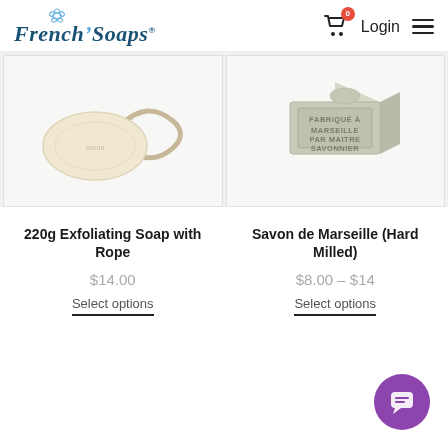French Soaps® | Login | Menu
[Figure (photo): Oval cream-colored exfoliating soap with a twisted rope loop, on white background]
[Figure (photo): Cube-shaped grey Savon de Marseille soap block with text 'FABRIQUÉ À MARSEILLE PAR MAITRE SAVONNIER' engraved on face, on white background]
220g Exfoliating Soap with Rope
Savon de Marseille (Hard Milled)
$14.00
$8.00 – $14
Select options
Select options